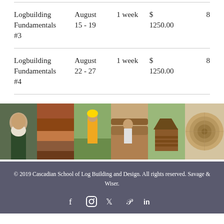| Course | Date | Duration | Price | Spots |
| --- | --- | --- | --- | --- |
| Logbuilding Fundamentals #3 | August 15 - 19 | 1 week | $ 1250.00 | 8 |
| Logbuilding Fundamentals #4 | August 22 - 27 | 1 week | $ 1250.00 | 8 |
[Figure (photo): A horizontal strip of six photos showing log building activities: a bearded man, stacked logs, a worker using a chainsaw, a person working on logs, a small log cabin structure, and a cross-section of a log.]
© 2019 Cascadian School of Log Building and Design. All rights reserved. Savage & Wiser.